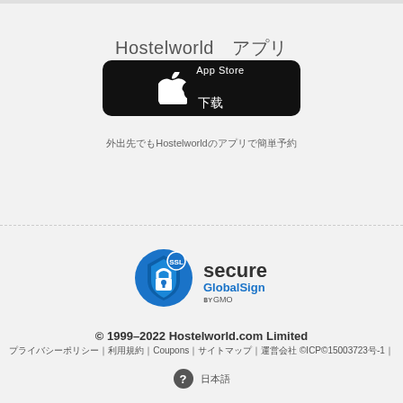Hostelworld　アプリ
[Figure (logo): App Store download button — black rounded rectangle with Apple logo and text 'App Store 下載']
外出先でもHostelworldのアプリで簡単予約
[Figure (logo): SSL Secure GlobalSign by GMO badge]
© 1999–2022 Hostelworld.com Limited
プライバシーポリシー | 利用規約 | Coupons | サイトマップ | 運営会社 ©ICP©15003723号-1 |
❓ 日本語